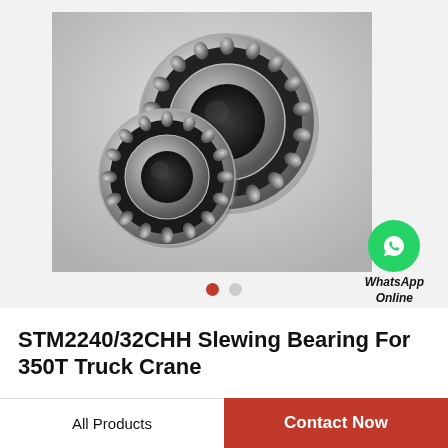[Figure (photo): Two spherical roller bearings (slewing bearings) shown on a light gray background. One larger bearing is behind and to the right, one smaller bearing is in front and to the left. Both are silver/chrome metallic with black roller elements visible.]
[Figure (logo): WhatsApp green circle icon with white phone handset, labeled 'WhatsApp Online' in italic text below]
STM2240/32CHH Slewing Bearing For 350T Truck Crane
All Products
Contact Now